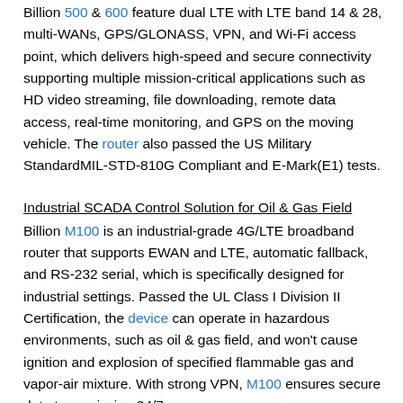Billion 500 & 600 feature dual LTE with LTE band 14 & 28, multi-WANs, GPS/GLONASS, VPN, and Wi-Fi access point, which delivers high-speed and secure connectivity supporting multiple mission-critical applications such as HD video streaming, file downloading, remote data access, real-time monitoring, and GPS on the moving vehicle. The router also passed the US Military StandardMIL-STD-810G Compliant and E-Mark(E1) tests.
Industrial SCADA Control Solution for Oil & Gas Field
Billion M100 is an industrial-grade 4G/LTE broadband router that supports EWAN and LTE, automatic fallback, and RS-232 serial, which is specifically designed for industrial settings. Passed the UL Class I Division II Certification, the device can operate in hazardous environments, such as oil & gas field, and won't cause ignition and explosion of specified flammable gas and vapor-air mixture. With strong VPN, M100 ensures secure data transmission 24/7.